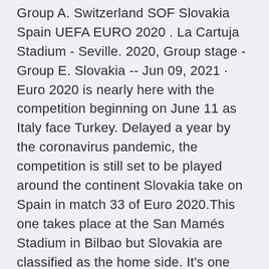Group A. Switzerland SOF Slovakia Spain UEFA EURO 2020 . La Cartuja Stadium - Seville. 2020, Group stage - Group E. Slovakia -- Jun 09, 2021 · Euro 2020 is nearly here with the competition beginning on June 11 as Italy face Turkey. Delayed a year by the coronavirus pandemic, the competition is still set to be played around the continent Slovakia take on Spain in match 33 of Euro 2020.This one takes place at the San Mamés Stadium in Bilbao but Slovakia are classified as the home side. It's one that will have big ramifications on Group E as both sides aim to secure their place in the next stage of the competition.